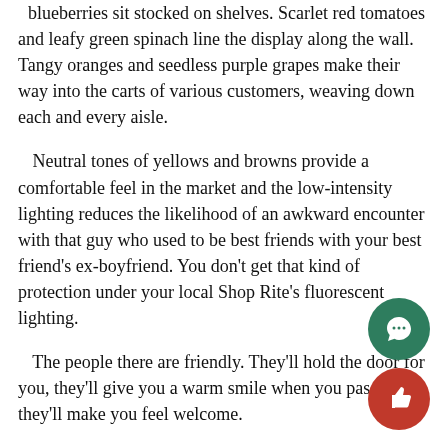blueberries sit stocked on shelves. Scarlet red tomatoes and leafy green spinach line the display along the wall. Tangy oranges and seedless purple grapes make their way into the carts of various customers, weaving down each and every aisle.
Neutral tones of yellows and browns provide a comfortable feel in the market and the low-intensity lighting reduces the likelihood of an awkward encounter with that guy who used to be best friends with your best friend's ex-boyfriend. You don't get that kind of protection under your local Shop Rite's fluorescent lighting.
The people there are friendly. They'll hold the door for you, they'll give you a warm smile when you pass, and they'll make you feel welcome.
Along with their immense organic inventory, Whole Foods has many products that serve as alternatives to allergy-inducing foods and beverages. Almond Breeze unsweetened almond milk has become a popular preference over traditional milk brands. It's dairy free, so those with stomachs that quiver at the thought of ingesting lactose can breathe a sigh of relief. The faint traces of almond flavor and hints of vanilla complement one another to form a sweet, tasty, and healthy option.